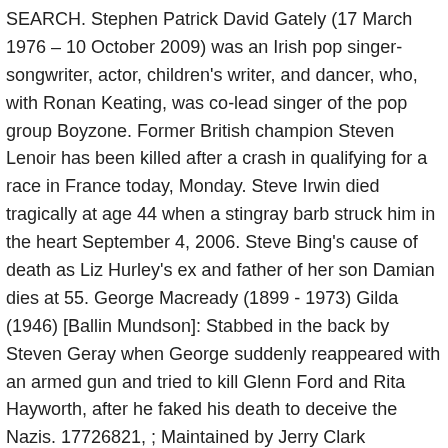SEARCH. Stephen Patrick David Gately (17 March 1976 – 10 October 2009) was an Irish pop singer-songwriter, actor, children's writer, and dancer, who, with Ronan Keating, was co-lead singer of the pop group Boyzone. Former British champion Steven Lenoir has been killed after a crash in qualifying for a race in France today, Monday. Steve Irwin died tragically at age 44 when a stingray barb struck him in the heart September 4, 2006. Steve Bing's cause of death as Liz Hurley's ex and father of her son Damian dies at 55. George Macready (1899 - 1973) Gilda (1946) [Ballin Mundson]: Stabbed in the back by Steven Geray when George suddenly reappeared with an armed gun and tried to kill Glenn Ford and Rita Hayworth, after he faked his death to deceive the Nazis. 17726821, ; Maintained by Jerry Clark (contributor 47209646)